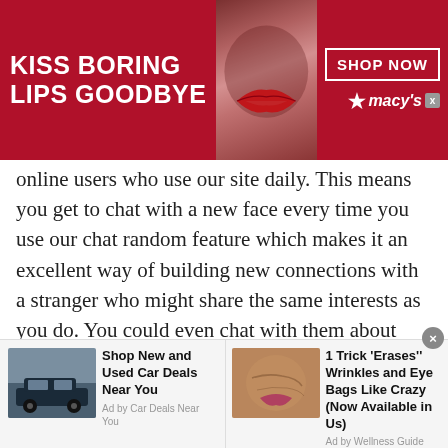[Figure (screenshot): Advertisement banner for Macy's with text 'KISS BORING LIPS GOODBYE' on red background with woman's face and red lips, plus 'SHOP NOW' box and Macy's star logo]
online users who use our site daily. This means you get to chat with a new face every time you use our chat random feature which makes it an excellent way of building new connections with a stranger who might share the same interests as you do. You could even chat with them about new topics or issues that you did not know about.

Random chat features enable the youth, or teenagers to join a chatroom and speak with someone of their age, from the same gender or even from opposite genders. Since our site has more than 12000 users daily, you can
[Figure (screenshot): Bottom advertisement bar with two ads: 'Shop New and Used Car Deals Near You' with car image (Ad by Car Deals Near You), and '1 Trick Erases Wrinkles and Eye Bags Like Crazy (Now Available in Us)' with skin close-up image (Ad by Wellness Guide 101)]